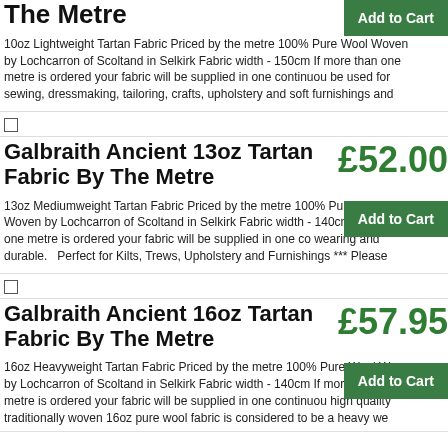The Metre
10oz Lightweight Tartan Fabric Priced by the metre 100% Pure Wool Woven by Lochcarron of Scoltand in Selkirk Fabric width - 150cm If more than one metre is ordered your fabric will be supplied in one continuous piece. This fabric can be used for sewing, dressmaking, tailoring, crafts, upholstery and soft furnishings and
Galbraith Ancient 13oz Tartan Fabric By The Metre
£52.00
13oz Mediumweight Tartan Fabric Priced by the metre 100% Pure Wool Woven by Lochcarron of Scoltand in Selkirk Fabric width - 140cm If more than one metre is ordered your fabric will be supplied in one continuous piece. This fabric is hard wearing and durable.   Perfect for Kilts, Trews, Upholstery and Furnishings *** Please
Galbraith Ancient 16oz Tartan Fabric By The Metre
£57.95
16oz Heavyweight Tartan Fabric Priced by the metre 100% Pure Wool Woven by Lochcarron of Scoltand in Selkirk Fabric width - 140cm If more than one metre is ordered your fabric will be supplied in one continuous piece. This high quality traditionally woven 16oz pure wool fabric is considered to be a heavy we